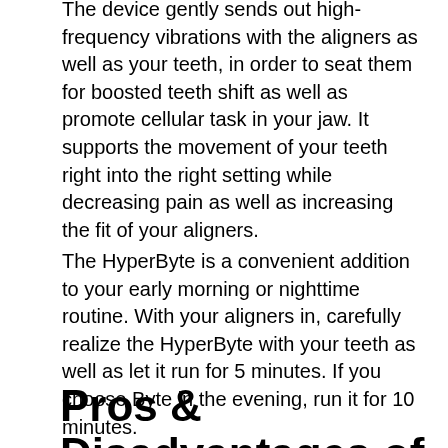The device gently sends out high-frequency vibrations with the aligners as well as your teeth, in order to seat them for boosted teeth shift as well as promote cellular task in your jaw. It supports the movement of your teeth right into the right setting while decreasing pain as well as increasing the fit of your aligners.
The HyperByte is a convenient addition to your early morning or nighttime routine. With your aligners in, carefully realize the HyperByte with your teeth as well as let it run for 5 minutes. If you choose Byte in the evening, run it for 10 minutes.
Pros & Disadvantages of Byte